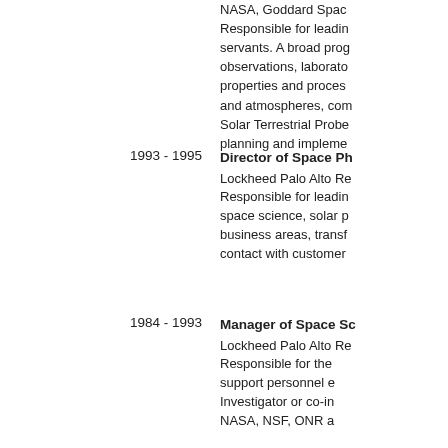NASA, Goddard Space Flight Center. Responsible for leading civil servants. A broad program of observations, laboratory studies of properties and processes of planets and atmospheres, comets, the Solar Terrestrial Probe missions, planning and implementation.
1993 - 1995
Director of Space Ph... Lockheed Palo Alto Research. Responsible for leading space science, solar physics business areas, transferring contact with customers.
1984 - 1993
Manager of Space Sc... Lockheed Palo Alto Research. Responsible for the support personnel as Investigator or co-in NASA, NSF, ONR a